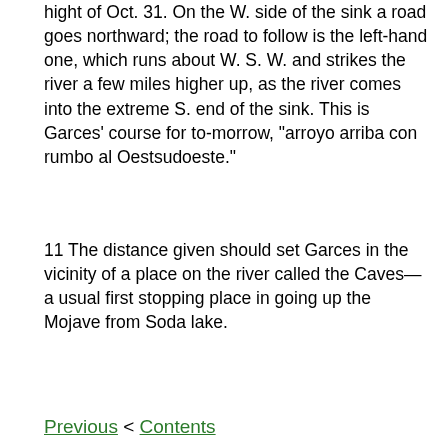hight of Oct. 31. On the W. side of the sink a road goes northward; the road to follow is the left-hand one, which runs about W. S. W. and strikes the river a few miles higher up, as the river comes into the extreme S. end of the sink. This is Garces' course for to-morrow, "arroyo arriba con rumbo al Oestsudoeste."
11 The distance given should set Garces in the vicinity of a place on the river called the Caves—a usual first stopping place in going up the Mojave from Soda lake.
Previous < Contents